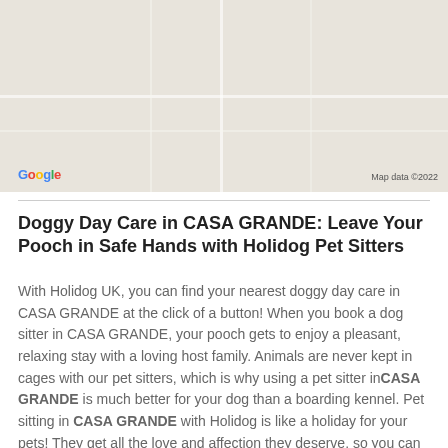[Figure (map): Google Maps screenshot showing a map area, with Google logo bottom-left and 'Map data ©2022' bottom-right]
Doggy Day Care in CASA GRANDE: Leave Your Pooch in Safe Hands with Holidog Pet Sitters
With Holidog UK, you can find your nearest doggy day care in CASA GRANDE at the click of a button! When you book a dog sitter in CASA GRANDE, your pooch gets to enjoy a pleasant, relaxing stay with a loving host family. Animals are never kept in cages with our pet sitters, which is why using a pet sitter in CASA GRANDE is much better for your dog than a boarding kennel. Pet sitting in CASA GRANDE with Holidog is like a holiday for your pets! They get all the love and affection they deserve, so you can go away with total peace of mind.